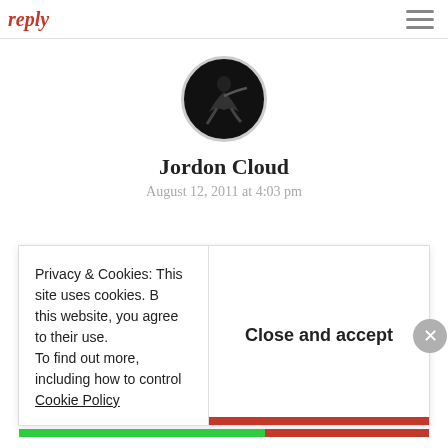reply
[Figure (photo): Circular avatar photo of a dancer in dark background]
Jordon Cloud
August 12, 2011 at 4:03 pm
Very interesting post!
My blog started as a school assignment and I definitely feel that I put more time, effort, and thought toward it than any homework that I've ever had. I continued writing the blog after the term ended because it ended up
Privacy & Cookies: This site uses cookies. By continuing to use this website, you agree to their use. To find out more, including how to control cookies, see here: Cookie Policy
Close and accept